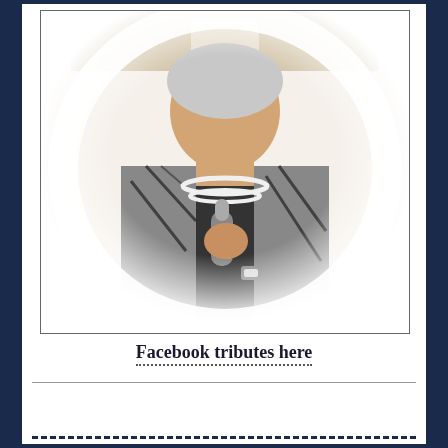[Figure (photo): Elderly woman with white hair holding a microphone, wearing a pearl necklace and a black and grey patterned jacket with a watch, positioned indoors with curtains in the background. Photo has an oval/vignette crop effect.]
Facebook tributes here